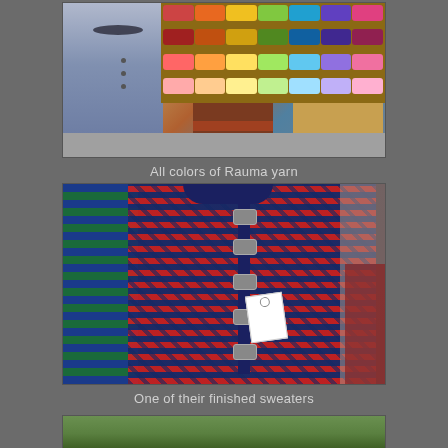[Figure (photo): A yarn shop interior showing a mannequin wearing a blue knit cardigan with button closure and bead necklace, in front of shelves filled with colorful Rauma yarn balls.]
All colors of Rauma yarn
[Figure (photo): Close-up of a finished Nordic/Fair Isle style sweater in red, navy, and green pattern with decorative clasps, hanging on a hanger with a price tag.]
One of their finished sweaters
[Figure (photo): Partially visible third photo at the bottom of the page showing an outdoor scene.]